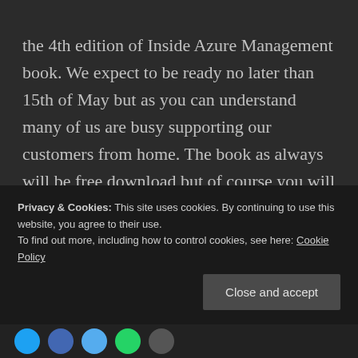the 4th edition of Inside Azure Management book. We expect to be ready no later than 15th of May but as you can understand many of us are busy supporting our customers from home. The book as always will be free download but of course you will be able to purchase it via Amazon as well if you want to. Return to this blog post in a few days to check for the Amazon link. We have worked hard to update the content to the latest changes inside Azure but also to give you some new scenarios.
Privacy & Cookies: This site uses cookies. By continuing to use this website, you agree to their use.
To find out more, including how to control cookies, see here: Cookie Policy